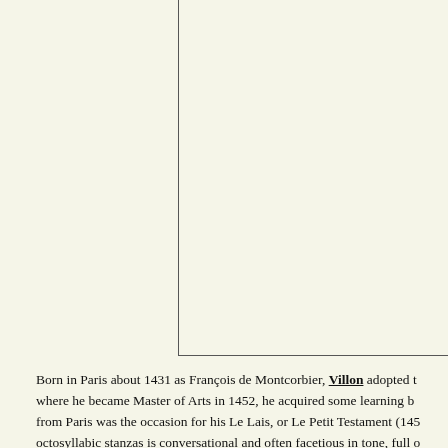[Figure (other): A blank or mostly empty framed image area with L-shaped border lines on the left and bottom sides, set against a cream/off-white background.]
Born in Paris about 1431 as François de Montcorbier, Villon adopted t where he became Master of Arts in 1452, he acquired some learning b from Paris was the occasion for his Le Lais, or Le Petit Testament (145 octosyllabic stanzas is conversational and often facetious in tone, full o